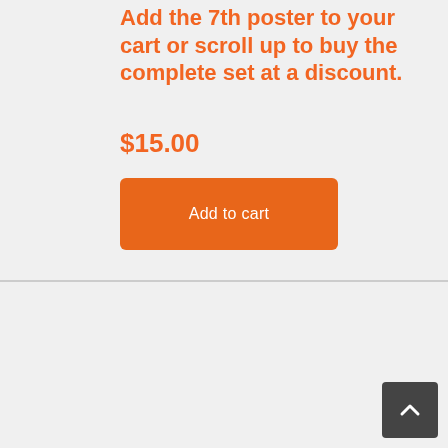Add the 7th poster to your cart or scroll up to buy the complete set at a discount.
$15.00
Add to cart
[Figure (illustration): Thumbnail image of Process Poster for Mathematical Practice 8, showing a blue poster with a teal header bar, green section, bullet point list, and orange speech bubble at the bottom with a compass logo.]
Process Poster for Mathematical Practice 8 Tool for Teaching